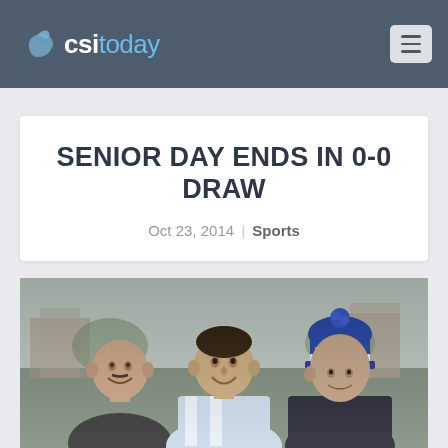csi today
SENIOR DAY ENDS IN 0-0 DRAW
Oct 23, 2014 | Sports
[Figure (photo): Three people posing for a photo outdoors on an overcast day. Left: a bald man smiling. Center: a young man in a light blue and white jersey smiling. Right: a person wearing a blue and white 'Dolphins' knit hat. Buildings visible in the blurred background.]